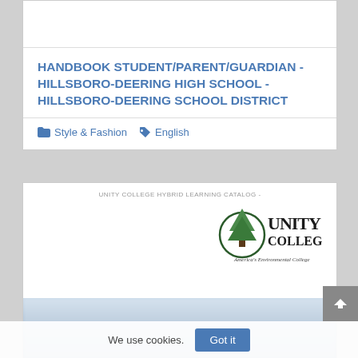HANDBOOK STUDENT/PARENT/GUARDIAN - HILLSBORO-DEERING HIGH SCHOOL - HILLSBORO-DEERING SCHOOL DISTRICT
Style & Fashion   English
[Figure (screenshot): Unity College Hybrid Learning Catalog cover page showing Unity College logo with tree emblem and text 'America's Environmental College', with a blurred landscape/sky photograph below]
We use cookies.  Got it